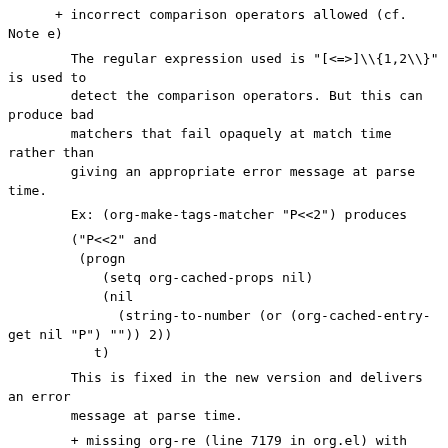+ incorrect comparison operators allowed (cf. Note e)
The regular expression used is "[<=>]\{1,2\}" is used to
detect the comparison operators. But this can produce bad
matchers that fail opaquely at match time rather than
giving an appropriate error message at parse time.
Ex: (org-make-tags-matcher "P<<2") produces
("P<<2" and
 (progn
    (setq org-cached-props nil)
    (nil
      (string-to-number (or (org-cached-entry-get nil "P") "")) 2))
   t)
This is fixed in the new version and delivers an error
message at parse time.
+ missing org-re (line 7179 in org.el) with posix classes
Minor consistency issue.  This line does not
occur in the new...